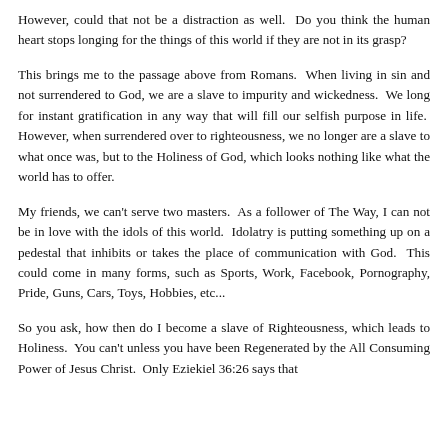However, could that not be a distraction as well. Do you think the human heart stops longing for the things of this world if they are not in its grasp?
This brings me to the passage above from Romans. When living in sin and not surrendered to God, we are a slave to impurity and wickedness. We long for instant gratification in any way that will fill our selfish purpose in life. However, when surrendered over to righteousness, we no longer are a slave to what once was, but to the Holiness of God, which looks nothing like what the world has to offer.
My friends, we can't serve two masters. As a follower of The Way, I can not be in love with the idols of this world. Idolatry is putting something up on a pedestal that inhibits or takes the place of communication with God. This could come in many forms, such as Sports, Work, Facebook, Pornography, Pride, Guns, Cars, Toys, Hobbies, etc...
So you ask, how then do I become a slave of Righteousness, which leads to Holiness. You can't unless you have been Regenerated by the All Consuming Power of Jesus Christ. Only Eziekiel 36:26 says that